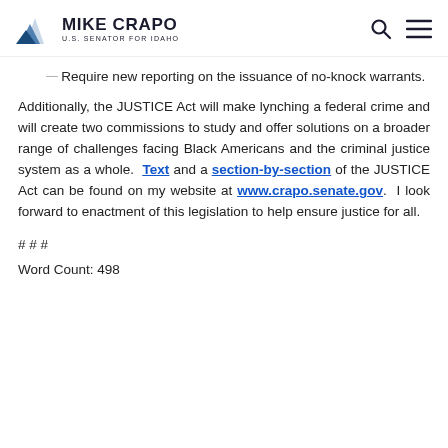MIKE CRAPO | U.S. SENATOR FOR IDAHO
Require new reporting on the issuance of no-knock warrants.
Additionally, the JUSTICE Act will make lynching a federal crime and will create two commissions to study and offer solutions on a broader range of challenges facing Black Americans and the criminal justice system as a whole. Text and a section-by-section of the JUSTICE Act can be found on my website at www.crapo.senate.gov. I look forward to enactment of this legislation to help ensure justice for all.
# # #
Word Count: 498